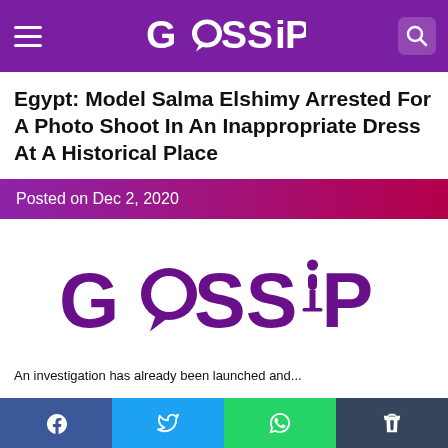GOSSIP
Egypt: Model Salma Elshimy Arrested For A Photo Shoot In An Inappropriate Dress At A Historical Place
Posted on Dec 2, 2020
[Figure (logo): GOSSIP logo in purple with speech bubble as letter O and microphone as letter I]
An investigation has already been launched and...
Facebook Twitter WhatsApp Tumblr